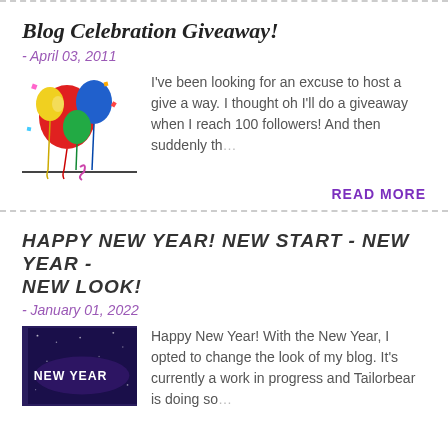Blog Celebration Giveaway!
- April 03, 2011
[Figure (illustration): Colorful balloons illustration for a blog celebration giveaway post]
I've been looking for an excuse to host a give a way.  I thought oh I'll do a giveaway when I reach 100 followers!  And then suddenly th… …
READ MORE
HAPPY NEW YEAR! NEW START - NEW YEAR - NEW LOOK!
- January 01, 2022
[Figure (photo): Dark purple/blue 'NEW YEAR' text on night sky background]
Happy New Year!  With the New Year, I opted to change the look of my blog.  It's currently a work in progress and Tailorbear is doing so… …